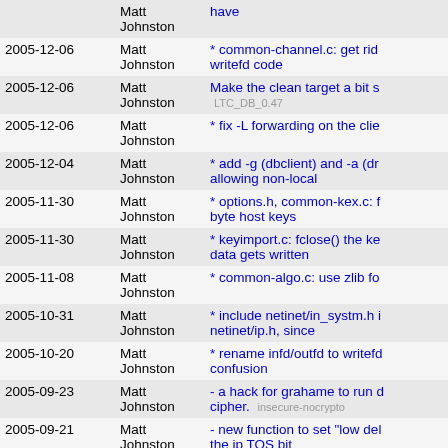| Date | Author | Message |
| --- | --- | --- |
|  | Matt Johnston | have |
| 2005-12-06 | Matt Johnston | * common-channel.c: get rid writefd code |
| 2005-12-06 | Matt Johnston | Make the clean target a bit s LTC_DB_0.47 |
| 2005-12-06 | Matt Johnston | * fix -L forwarding on the clie |
| 2005-12-04 | Matt Johnston | * add -g (dbclient) and -a (dr allowing non-local |
| 2005-11-30 | Matt Johnston | * options.h, common-kex.c: f byte host keys |
| 2005-11-30 | Matt Johnston | * keyimport.c: fclose() the ke data gets written |
| 2005-11-08 | Matt Johnston | * common-algo.c: use zlib fo |
| 2005-10-31 | Matt Johnston | * include netinet/in_systm.h i netinet/ip.h, since |
| 2005-10-20 | Matt Johnston | * rename infd/outfd to writefd confusion |
| 2005-09-23 | Matt Johnston | - a hack for grahame to run d cipher. insecure-nocrypto |
| 2005-09-21 | Matt Johnston | - new function to set "low del the ip TOS bit |
| 2005-09-20 | Matt Johnston | Forgot to revert echo flag |
| 2005-09-20 | Matt Johnston | added keyboard-interactive d |